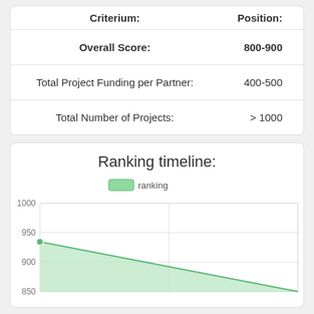| Criterium: | Position: |
| --- | --- |
| Overall Score: | 800-900 |
| Total Project Funding per Partner: | 400-500 |
| Total Number of Projects: | > 1000 |
Ranking timeline:
[Figure (area-chart): Area chart showing ranking timeline, declining from approximately 940 to about 850, y-axis from 850 to 1000]